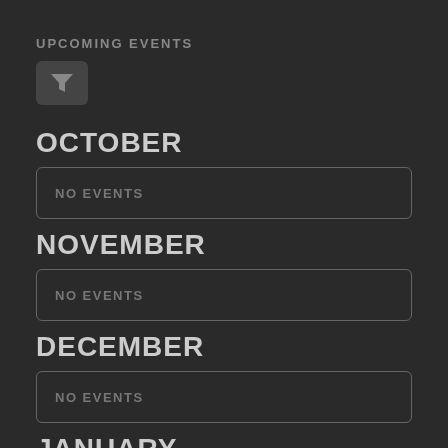UPCOMING EVENTS
[Figure (other): Filter button with funnel/filter icon]
OCTOBER
NO EVENTS
NOVEMBER
NO EVENTS
DECEMBER
NO EVENTS
JANUARY
NO EVENTS
FEBRUARY